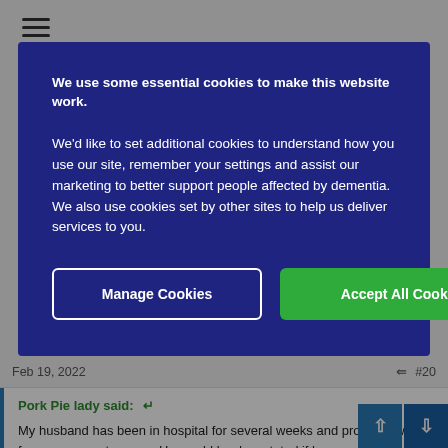[Figure (screenshot): Hamburger menu icon (three horizontal lines) in top left corner of page]
We use some essential cookies to make this website work.
We'd like to set additional cookies to understand how you use our site, remember your settings and assist our marketing to better support people affected by dementia. We also use cookies set by other sites to help us deliver services to you.
Manage Cookies
Accept All Cookies
Feb 19, 2022
#20
Pork Pie lady said:
My husband has been in hospital for several weeks and probably will be for many more to come. He would be devastated if he wasn't allowed to talk to me. All the time he knows he can call me whenever he wants he is mostly OK but without that life would be intolerable. Dementia takes away so much that is precious, it is not OK to restrict more than is absolutely necessary.